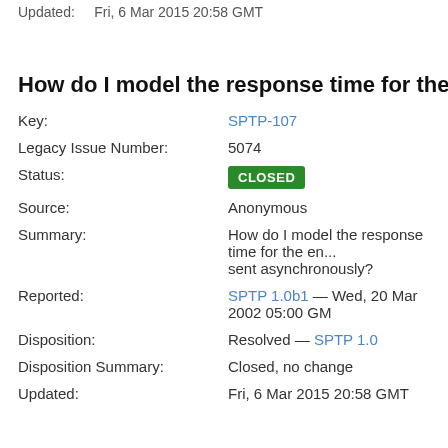Updated:    Fri, 6 Mar 2015 20:58 GMT
How do I model the response time for the entire
Key: SPTP-107
Legacy Issue Number: 5074
Status: CLOSED
Source: Anonymous
Summary: How do I model the response time for the en... sent asynchronously?
Reported: SPTP 1.0b1 — Wed, 20 Mar 2002 05:00 GM...
Disposition: Resolved — SPTP 1.0
Disposition Summary: Closed, no change
Updated: Fri, 6 Mar 2015 20:58 GMT